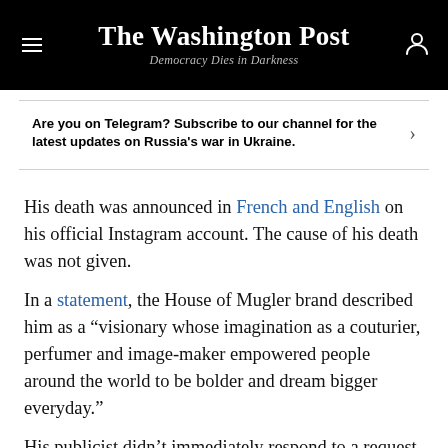The Washington Post — Democracy Dies in Darkness
Are you on Telegram? Subscribe to our channel for the latest updates on Russia's war in Ukraine.
His death was announced in French and English on his official Instagram account. The cause of his death was not given.
In a statement, the House of Mugler brand described him as a “visionary whose imagination as a couturier, perfumer and image-maker empowered people around the world to be bolder and dream bigger everyday.”
His publicist didn’t immediately respond to a request